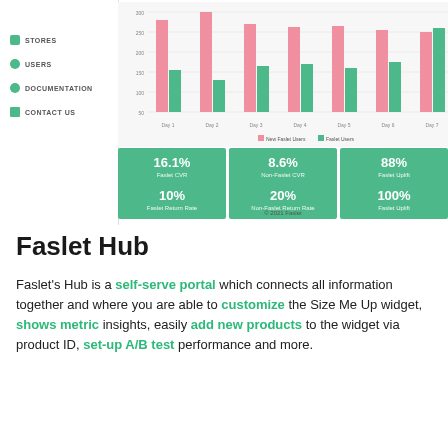[Figure (screenshot): Faslet Hub dashboard screenshot showing sidebar navigation with STORES, USERS, DOCUMENTATION, CONTACT US items, and a grouped bar chart with pink and green bars for Day 1 through Day 7, plus metric cards showing 16.1% Faslet CVR, 8.6% Non-Faslet CVR, 88% Faslet Uplift, 10% Faslet Return Rate, 20% Non-Faslet Return Rate, 100% Faslet Uplift, and copyright 2021 Faslet]
Faslet Hub
Faslet's Hub is a self-serve portal which connects all information together and where you are able to customize the Size Me Up widget, shows metric insights, easily add new products to the widget via product ID, set-up A/B test performance and more.